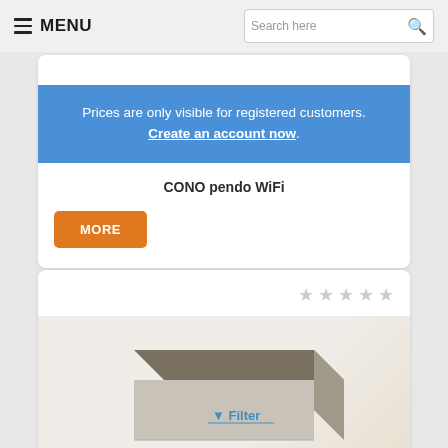≡ MENU   Search here 🔍
Prices are only visible for registered customers. Create an account now.
CONO pendo WiFi
MORE
[Figure (photo): Product image of a flat box-shaped device with a blue Filter label and funnel icon visible on the front face.]